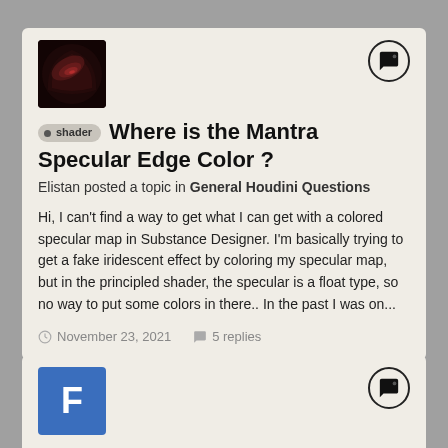[Figure (screenshot): Forum listing page showing two topic cards on a grey background]
Where is the Mantra Specular Edge Color ?
Elistan posted a topic in General Houdini Questions
Hi, I can't find a way to get what I can get with a colored specular map in Substance Designer. I'm basically trying to get a fake iridescent effect by coloring my specular map, but in the principled shader, the specular is a float type, so no way to put some colors in there.. In the past I was on...
November 23, 2021   5 replies
Tesla Spec Ad - VFX generalist - Small Budget
FrankG posted a topic in Studios